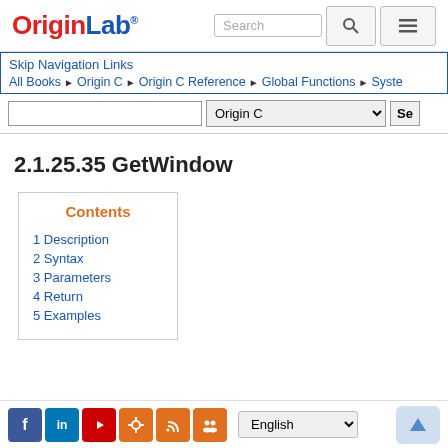OriginLab® | Search
Skip Navigation Links
All Books ▶ Origin C ▶ Origin C Reference ▶ Global Functions ▶ Syste...
2.1.25.35 GetWindow
Contents
1 Description
2 Syntax
3 Parameters
4 Return
5 Examples
Facebook LinkedIn YouTube Settings RSS Groups | English | ↑